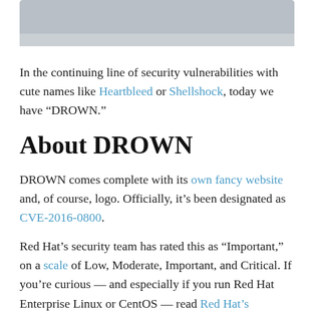[Figure (photo): Top portion of a banner image, partially visible, grey/muted tones]
In the continuing line of security vulnerabilities with cute names like Heartbleed or Shellshock, today we have “DROWN.”
About DROWN
DROWN comes complete with its own fancy website and, of course, logo. Officially, it’s been designated as CVE-2016-0800.
Red Hat’s security team has rated this as “Important,” on a scale of Low, Moderate, Important, and Critical. If you’re curious — and especially if you run Red Hat Enterprise Linux or CentOS — read Red Hat’s